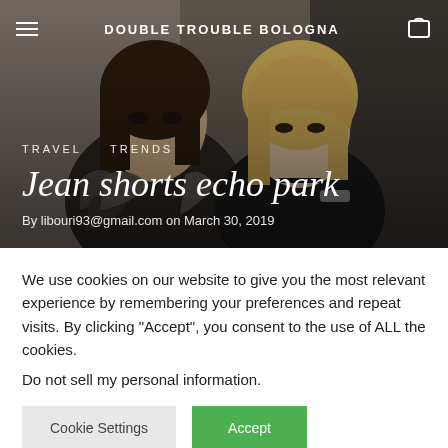DOUBLE TROUBLE BOLOGNA
[Figure (photo): Two glamorous women posing together against a concrete/dark background. Left woman wears a feathery/fluffy gray outfit with dark makeup. Right woman has blonde hair and wears dark clothing. Both look directly at the camera.]
Jean shorts echo park
By libouri93@gmail.com on March 30, 2019
We use cookies on our website to give you the most relevant experience by remembering your preferences and repeat visits. By clicking “Accept”, you consent to the use of ALL the cookies.
Do not sell my personal information.